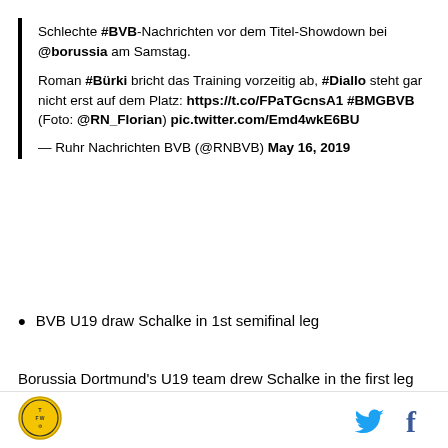Schlechte #BVB-Nachrichten vor dem Titel-Showdown bei @borussia am Samstag.

Roman #Bürki bricht das Training vorzeitig ab, #Diallo steht gar nicht erst auf dem Platz: https://t.co/FPaTGcnsA1 #BMGBVB (Foto: @RN_Florian) pic.twitter.com/Emd4wkE6BU

— Ruhr Nachrichten BVB (@RNBVB) May 16, 2019
BVB U19 draw Schalke in 1st semifinal leg
Borussia Dortmund's U19 team drew Schalke in the first leg of the German championship semifinals. BVB